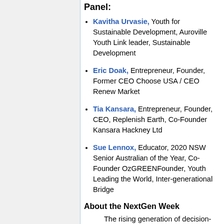Panel:
Kavitha Urvasie, Youth for Sustainable Development, Auroville Youth Link leader, Sustainable Development
Eric Doak, Entrepreneur, Founder, Former CEO Choose USA / CEO Renew Market
Tia Kansara, Entrepreneur, Founder, CEO, Replenish Earth, Co-Founder Kansara Hackney Ltd
Sue Lennox, Educator, 2020 NSW Senior Australian of the Year, Co-Founder OzGREENFounder, Youth Leading the World, Inter-generational Bridge
About the NextGen Week
The rising generation of decision-makers and global